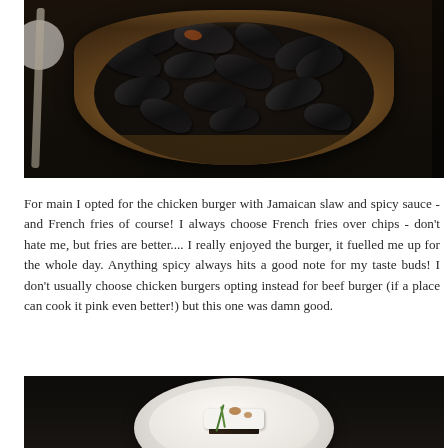[Figure (photo): A ceramic bowl filled with black mussels in broth, photographed from above on a rustic table setting]
For main I opted for the chicken burger with Jamaican slaw and spicy sauce - and French fries of course! I always choose French fries over chips - don't hate me, but fries are better.... I really enjoyed the burger, it fuelled me up for the whole day. Anything spicy always hits a good note for my taste buds! I don't usually choose chicken burgers opting instead for beef burger (if a place can cook it pink even better!) but this one was damn good.
[Figure (photo): A white ceramic plate on a dark background with a piece of white food (possibly tofu or fish) drizzled with brown sauce and garnished with a green herb]